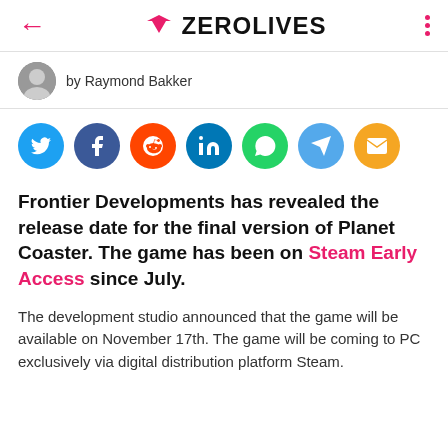← ZEROLIVES ⋮
by Raymond Bakker
[Figure (infographic): Row of 7 social share buttons: Twitter (blue), Facebook (dark blue), Reddit (orange), LinkedIn (blue), WhatsApp (green), Telegram (light blue), Email (yellow)]
Frontier Developments has revealed the release date for the final version of Planet Coaster. The game has been on Steam Early Access since July.
The development studio announced that the game will be available on November 17th. The game will be coming to PC exclusively via digital distribution platform Steam.